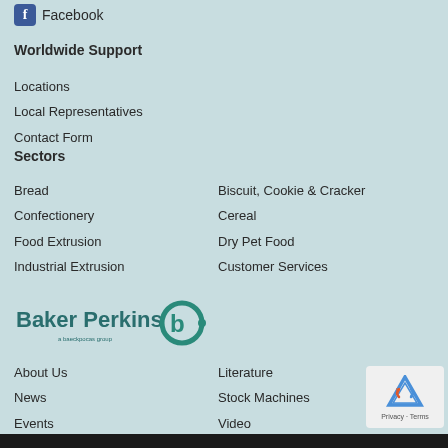Facebook
Worldwide Support
Locations
Local Representatives
Contact Form
Sectors
Bread
Biscuit, Cookie & Cracker
Confectionery
Cereal
Food Extrusion
Dry Pet Food
Industrial Extrusion
Customer Services
[Figure (logo): Baker Perkins logo with stylized 'b' icon and text 'a baeckpocas group']
About Us
Literature
News
Stock Machines
Events
Video
Links
Site Map